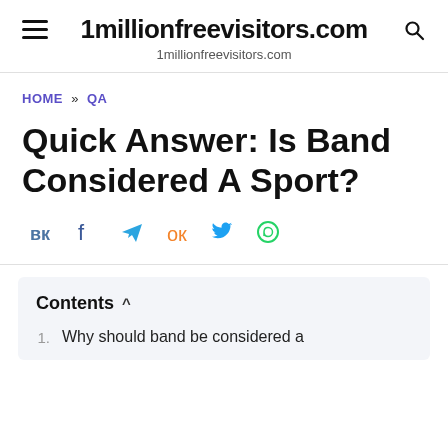1millionfreevisitors.com
1millionfreevisitors.com
HOME » QA
Quick Answer: Is Band Considered A Sport?
[Figure (other): Social sharing icons row: VK, Facebook, Telegram, OK, Twitter, WhatsApp]
Contents
Why should band be considered a